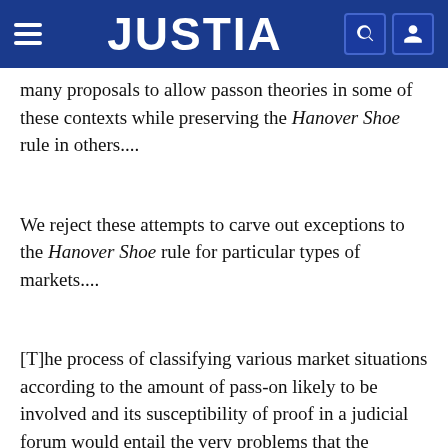JUSTIA
many proposals to allow passon theories in some of these contexts while preserving the Hanover Shoe rule in others....
We reject these attempts to carve out exceptions to the Hanover Shoe rule for particular types of markets....
[T]he process of classifying various market situations according to the amount of pass-on likely to be involved and its susceptibility of proof in a judicial forum would entail the very problems that the Hanover Shoe rule was meant to avoid. The litigation over where the line should be drawn in any particular class of